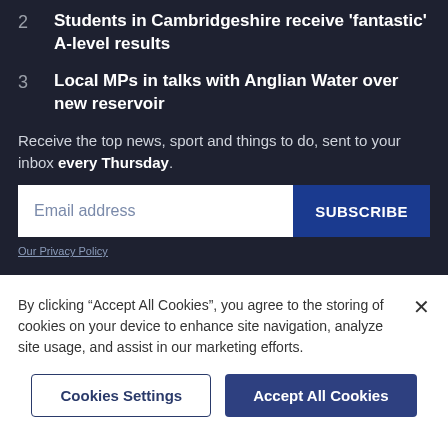2  Students in Cambridgeshire receive 'fantastic' A-level results
3  Local MPs in talks with Anglian Water over new reservoir
Receive the top news, sport and things to do, sent to your inbox every Thursday.
Email address
SUBSCRIBE
Our Privacy Policy
By clicking “Accept All Cookies”, you agree to the storing of cookies on your device to enhance site navigation, analyze site usage, and assist in our marketing efforts.
Cookies Settings
Accept All Cookies